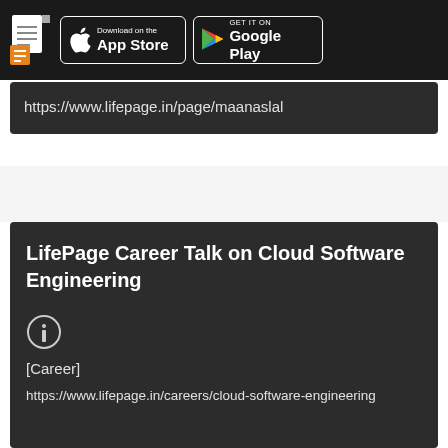LifePage App Store Google Play
https://www.lifepage.in/page/maanaslal
LifePage Career Talk on Cloud Software Engineering
[Career]
https://www.lifepage.in/careers/cloud-software-engineering